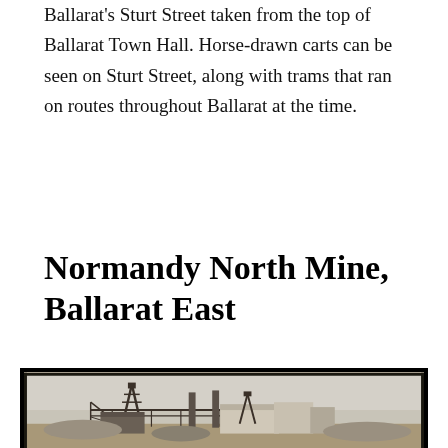Ballarat's Sturt Street taken from the top of Ballarat Town Hall. Horse-drawn carts can be seen on Sturt Street, along with trams that ran on routes throughout Ballarat at the time.
Normandy North Mine, Ballarat East
[Figure (photo): Black and white historical photograph of the Normandy North Mine in Ballarat East, showing mine headframes, industrial buildings, chimneys, and surrounding landscape.]